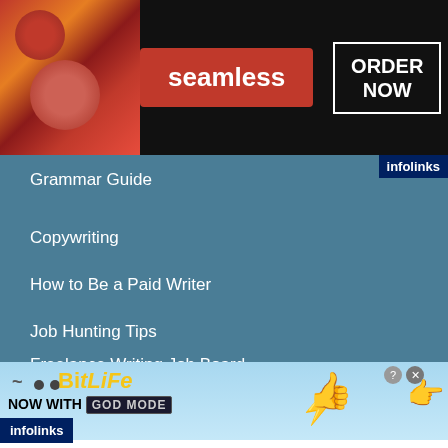[Figure (screenshot): Top advertisement banner for Seamless food delivery with pizza image, red Seamless badge, and ORDER NOW button]
Grammar Guide
Copywriting
How to Be a Paid Writer
Job Hunting Tips
Freelance Writing Job Board
Freelance Writing Guide
Blogging
[Figure (screenshot): BitLife advertisement banner: NOW WITH GOD MODE, with lightning bolt, thumb and hand icons on light blue background]